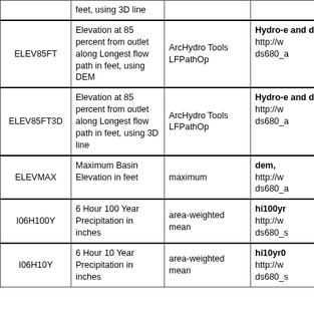| Field Name | Description | Method | Source |
| --- | --- | --- | --- |
|  | feet, using 3D line |  |  |
| ELEV85FT | Elevation at 85 percent from outlet along Longest flow path in feet, using DEM | ArcHydro Tools LFPathOp | Hydro-e and dem http://w ds680_a |
| ELEV85FT3D | Elevation at 85 percent from outlet along Longest flow path in feet, using 3D line | ArcHydro Tools LFPathOp | Hydro-e and dem http://w ds680_a |
| ELEVMAX | Maximum Basin Elevation in feet | maximum | dem, http://w ds680_a |
| I06H100Y | 6 Hour 100 Year Precipitation in inches | area-weighted mean | hi100yr http://w ds680_s |
| I06H10Y | 6 Hour 10 Year Precipitation in inches | area-weighted mean | hi10yr0 http://w ds680_s |